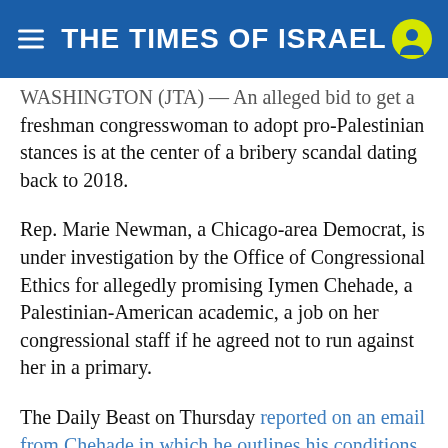THE TIMES OF ISRAEL
WASHINGTON (JTA) — An alleged bid to get a freshman congresswoman to adopt pro-Palestinian stances is at the center of a bribery scandal dating back to 2018.
Rep. Marie Newman, a Chicago-area Democrat, is under investigation by the Office of Congressional Ethics for allegedly promising Iymen Chehade, a Palestinian-American academic, a job on her congressional staff if he agreed not to run against her in a primary.
The Daily Beast on Thursday reported on an email from Chehade in which he outlines his conditions for assuming a role on her staff, should she be elected in 2020. Chehade requested a role as a